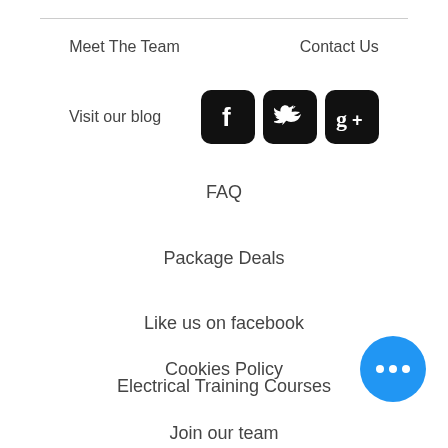Meet The Team
Contact Us
Visit our blog
[Figure (other): Social media icons: Facebook, Twitter, Google+]
FAQ
Package Deals
Like us on facebook
Electrical Training Courses
Cookies Policy
[Figure (other): Blue circular FAB button with three white dots (more options)]
Join our team